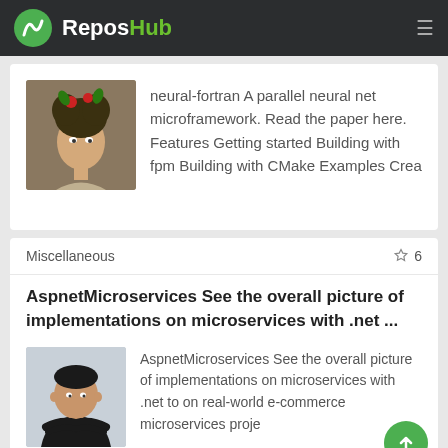ReposHub
neural-fortran A parallel neural net microframework. Read the paper here. Features Getting started Building with fpm Building with CMake Examples Crea
Miscellaneous  ☆ 6
AspnetMicroservices See the overall picture of implementations on microservices with .net ...
AspnetMicroservices See the overall picture of implementations on microservices with .net to on real-world e-commerce microservices proje